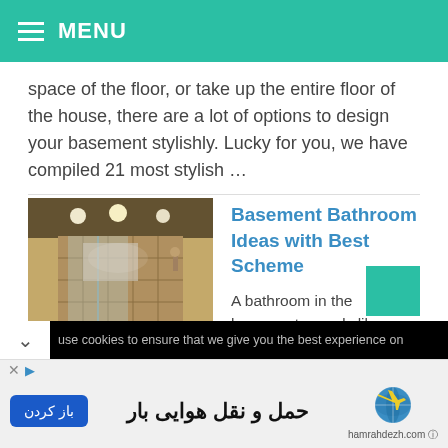MENU
space of the floor, or take up the entire floor of the house, there are a lot of options to design your basement stylishly. Lucky for you, we have compiled 21 most stylish …
[Figure (photo): Photo of a basement bathroom with tile walls, glass shower enclosure, and overhead lighting]
Basement Bathroom Ideas with Best Scheme
A bathroom in the basement sounds like a great help, doesn't it? Basement bathroom ideas are an escape. For example, if there's
use cookies to ensure that we give you the best experience on
[Figure (infographic): Advertisement banner for hamrahdezh.com air freight service with Persian text حمل و نقل هوایی بار and a blue button باز کردن]